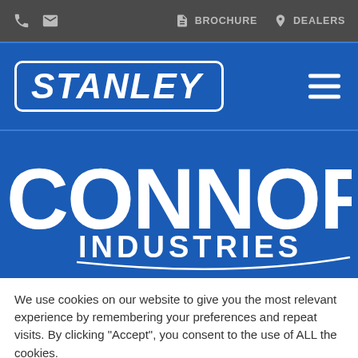BROCHURE   DEALERS
[Figure (logo): STANLEY logo — white italic bold text inside a rounded rectangle border on a blue background, with a hamburger menu icon on the right]
[Figure (logo): Connor Industries logo — large white stylized text on blue background with swoosh underline]
We use cookies on our website to give you the most relevant experience by remembering your preferences and repeat visits. By clicking “Accept”, you consent to the use of ALL the cookies.
Cookie settings   ACCEPT